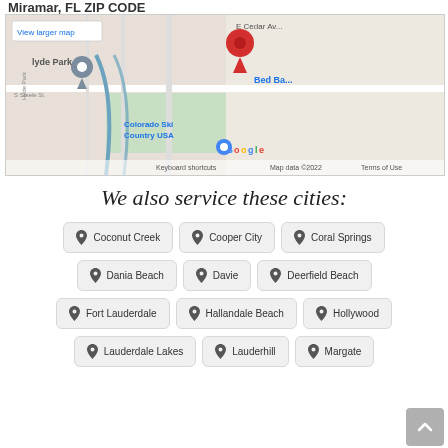Miramar, FL ZIP CODE
[Figure (map): Google Maps embed showing a location with a red pin marker, with labels for E Cedar Ave, Hyde Park, Colorado Ski Country USA, Bed Bath & Beyond, and Google logo with map data 2022. Also shows 'View larger map' button.]
We also service these cities:
Coconut Creek
Cooper City
Coral Springs
Dania Beach
Davie
Deerfield Beach
Fort Lauderdale
Hallandale Beach
Hollywood
Lauderdale Lakes
Lauderhill
Margate